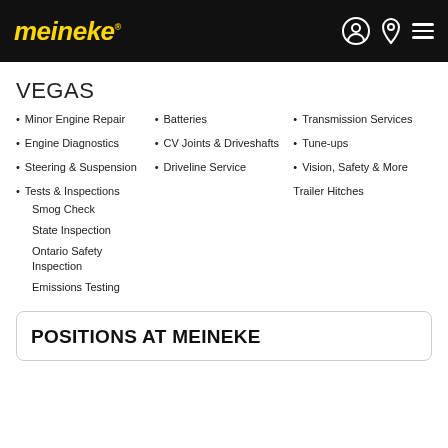meineke
VEGAS
Minor Engine Repair
Engine Diagnostics
Steering & Suspension
Tests & Inspections
Smog Check
State Inspection
Ontario Safety Inspection
Emissions Testing
Batteries
CV Joints & Driveshafts
Driveline Service
Transmission Services
Tune-ups
Vision, Safety & More
Trailer Hitches
POSITIONS AT MEINEKE